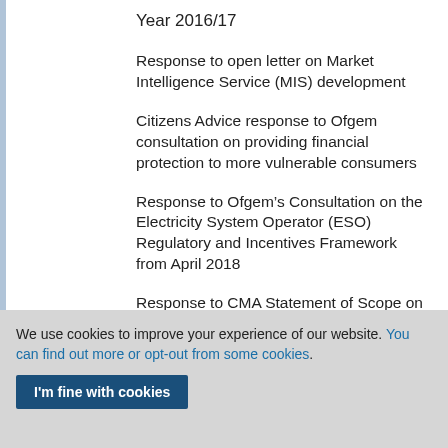Year 2016/17
Response to open letter on Market Intelligence Service (MIS) development
Citizens Advice response to Ofgem consultation on providing financial protection to more vulnerable consumers
Response to Ofgem’s Consultation on the Electricity System Operator (ESO) Regulatory and Incentives Framework from April 2018
Response to CMA Statement of Scope on the heat networks market study
We use cookies to improve your experience of our website. You can find out more or opt-out from some cookies.
I'm fine with cookies